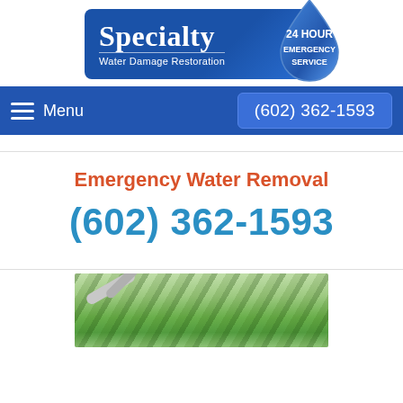[Figure (logo): Specialty Water Damage Restoration logo with blue gradient background and water drop shape containing '24 HOUR EMERGENCY SERVICE' text]
Menu  (602) 362-1593
Emergency Water Removal
(602) 362-1593
[Figure (photo): Outdoor photo showing pipe or hose with green foliage/plants in background]